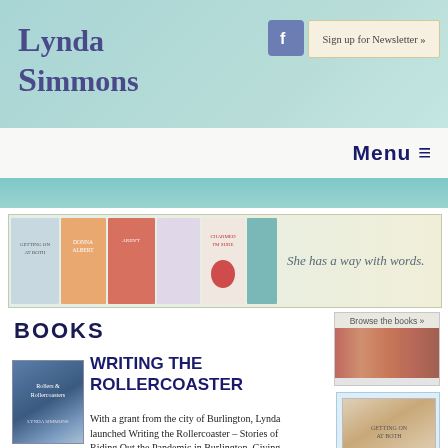Lynda Simmons — website header with Facebook icon and Sign up for Newsletter button
Lynda Simmons
Sign up for Newsletter »
Menu ≡
[Figure (photo): Banner strip showing multiple book covers by Lynda Simmons with text 'She has a way with words.']
BOOKS
Browse the books »
[Figure (photo): Thumbnail image of book covers for Browse the books]
[Figure (photo): Book cover thumbnail for Writing the Rollercoaster]
WRITING THE ROLLERCOASTER
With a grant from the city of Burlington, Lynda launched Writing the Rollercoaster – Stories of Riding Out the Pandemic in Burlington. Giving
[Figure (photo): Side panel book cover with quote: "A Bright,]
"A Bright,